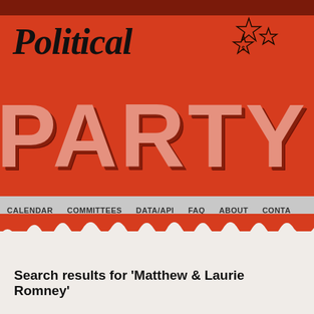[Figure (screenshot): Political Party Time website header banner with red background, cursive 'Political' logo text, large 'PARTY T' text in retro style with pink/shadow effect, stars decoration, and navigation bar with items: CALENDAR, COMMITTEES, DATA/API, FAQ, ABOUT, CONTA...]
Search results for 'Matthew & Laurie Romney'